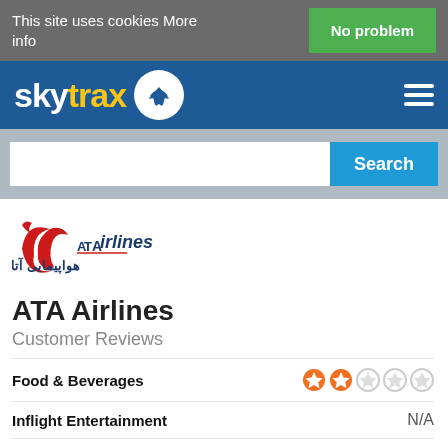This site uses cookies More info
No problem
[Figure (logo): Skytrax logo with airplane icon in speech bubble on blue navigation bar]
[Figure (logo): ATA Airlines logo - red crescent bird with ATA Airlines text and Arabic/Persian script]
ATA Airlines
Customer Reviews
Food & Beverages
Inflight Entertainment
N/A